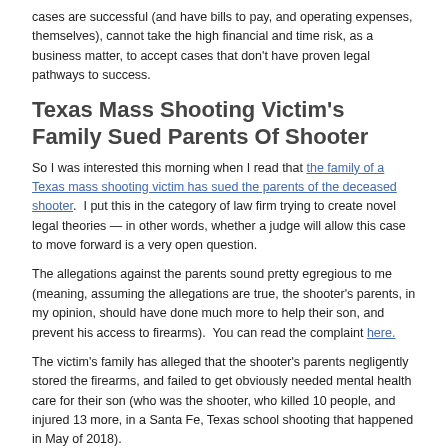cases are successful (and have bills to pay, and operating expenses, themselves), cannot take the high financial and time risk, as a business matter, to accept cases that don't have proven legal pathways to success.
Texas Mass Shooting Victim's Family Sued Parents Of Shooter
So I was interested this morning when I read that the family of a Texas mass shooting victim has sued the parents of the deceased shooter. I put this in the category of law firm trying to create novel legal theories — in other words, whether a judge will allow this case to move forward is a very open question.
The allegations against the parents sound pretty egregious to me (meaning, assuming the allegations are true, the shooter's parents, in my opinion, should have done much more to help their son, and prevent his access to firearms). You can read the complaint here.
The victim's family has alleged that the shooter's parents negligently stored the firearms, and failed to get obviously needed mental health care for their son (who was the shooter, who killed 10 people, and injured 13 more, in a Santa Fe, Texas school shooting that happened in May of 2018).
If I had to guess, especially in Texas with their conservative judges, I would say this lawsuit probably will not succeed. But we'll see.